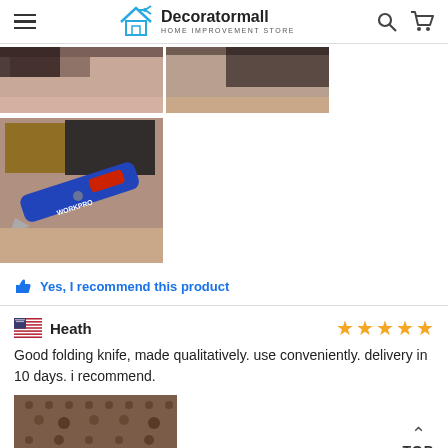Decoratormall HOME IMPROVEMENT STORE
[Figure (photo): Two photos cropped at top showing close-up of pink fabric/material]
[Figure (photo): Photo of a WORKPRO folding utility knife with blue and red handle on pink fabric background]
Yes, I recommend this product
Heath
[Figure (other): 5 orange/gold star rating]
Good folding knife, made qualitatively. use conveniently. delivery in 10 days. i recommend.
[Figure (photo): Close-up photo of brown textured fabric/lace material]